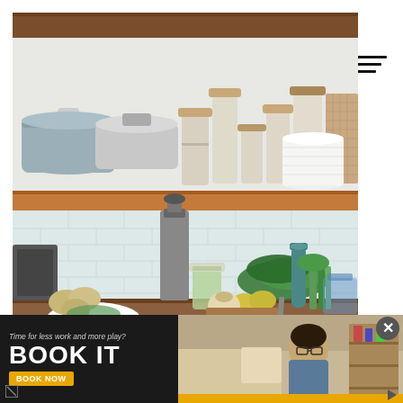[Figure (photo): Kitchen photo with two open wooden shelves. Top shelf holds pots, stacked bowls, glass jars with grains and spices, and stacked white plates. Bottom area shows a kitchen counter with a juicer, mason jar, vegetables (onions, garlic, greens), lemons, a teal water bottle, and a white bowl with greens.]
[Figure (photo): Advertisement banner at the bottom. Dark background on the left with text 'Time for less work and more play?' and large bold text 'BOOK IT' with an orange 'BOOK NOW' button. Right side shows a photo of a person sitting on a couch. Yellow stripe at bottom right. Close (X) button in top right.]